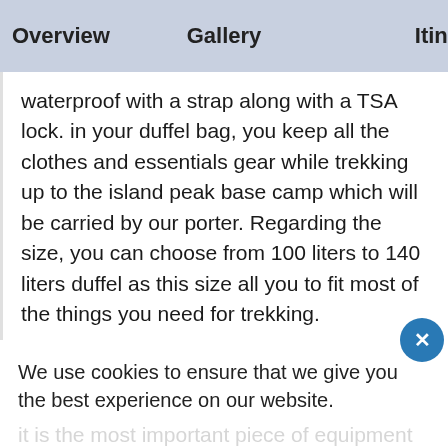Overview   Gallery   Itine
waterproof with a strap along with a TSA lock. in your duffel bag, you keep all the clothes and essentials gear while trekking up to the island peak base camp which will be carried by our porter. Regarding the size, you can choose from 100 liters to 140 liters duffel as this size all you to fit most of the things you need for trekking.
We use cookies to ensure that we give you the best experience on our website.
it is the most important piece of equipment for trekking and climbing specially the
Privacy Policy
Allow Cookies